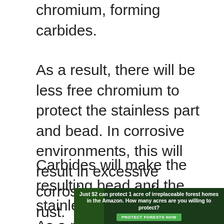chromium, forming carbides.
As a result, there will be less free chromium to protect the stainless part and bead. In corrosive environments, this will result in excessive corrosion, most often rust.
Carbides will make the resulting bead and the stainless HAZ very brittle. As a result, if the joint suffers from mechanical or thermal stress, it is possible to crack.
[Figure (photo): Advertisement banner with forest/Amazon theme. Text reads: 'Just $2 can protect 1 acre of irreplaceable forest homes in the Amazon. How many acres are you willing to protect?' with a green 'PROTECT FORESTS NOW' button.]